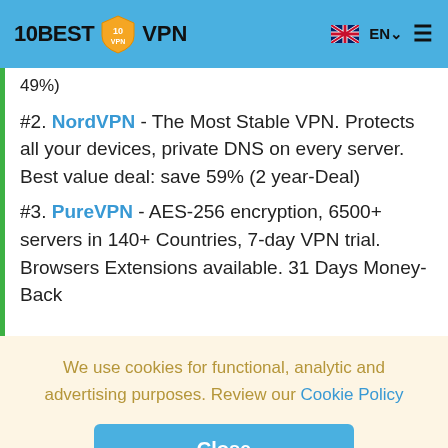10BEST VPN
49%)
#2. NordVPN - The Most Stable VPN. Protects all your devices, private DNS on every server. Best value deal: save 59% (2 year-Deal)
#3. PureVPN - AES-256 encryption, 6500+ servers in 140+ Countries, 7-day VPN trial. Browsers Extensions available. 31 Days Money-Back
We use cookies for functional, analytic and advertising purposes. Review our Cookie Policy
Close